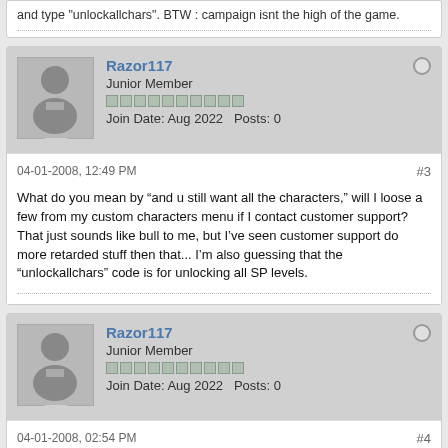and type "unlockallchars". BTW : campaign isnt the high of the game.
Razor117
Junior Member
Join Date: Aug 2022   Posts: 0
04-01-2008, 12:49 PM
#3
What do you mean by “and u still want all the characters,” will I loose a few from my custom characters menu if I contact customer support? That just sounds like bull to me, but I’ve seen customer support do more retarded stuff then that... I’m also guessing that the “unlockallchars” code is for unlocking all SP levels.
Razor117
Junior Member
Join Date: Aug 2022   Posts: 0
04-01-2008, 02:54 PM
#4